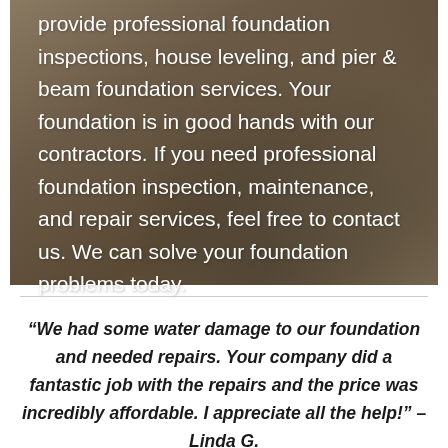[Figure (photo): Photo of a construction/foundation site showing dirt and concrete rubble, with white text overlay describing foundation services.]
provide professional foundation inspections, house leveling, and pier & beam foundation services. Your foundation is in good hands with our contractors. If you need professional foundation inspection, maintenance, and repair services, feel free to contact us. We can solve your foundation problems today.
“We had some water damage to our foundation and needed repairs. Your company did a fantastic job with the repairs and the price was incredibly affordable. I appreciate all the help!” – Linda G.